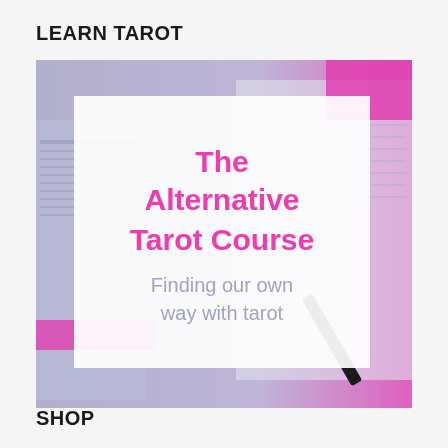LEARN TAROT
[Figure (photo): Photo of stacked notebooks, tarot cards and a pen with pink and purple tones, with a white semi-transparent overlay box containing title text 'The Alternative Tarot Course' and subtitle 'Finding our own way with tarot']
SHOP